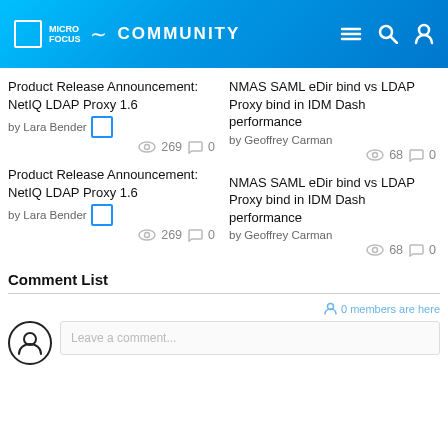Micro Focus Community
Product Release Announcement: NetIQ LDAP Proxy 1.6
by Lara Bender
269 views 0 comments
NMAS SAML eDir bind vs LDAP Proxy bind in IDM Dash performance
by Geoffrey Carman
68 views 0 comments
Product Release Announcement: NetIQ LDAP Proxy 1.6
by Lara Bender
269 views 0 comments
NMAS SAML eDir bind vs LDAP Proxy bind in IDM Dash performance
by Geoffrey Carman
68 views 0 comments
Comment List
0 members are here
Leave a comment...